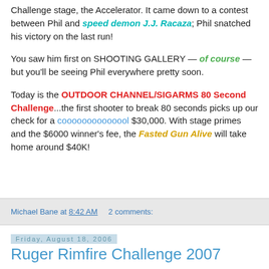Challenge stage, the Accelerator. It came down to a contest between Phil and speed demon J.J. Racaza; Phil snatched his victory on the last run!
You saw him first on SHOOTING GALLERY — of course — but you'll be seeing Phil everywhere pretty soon.
Today is the OUTDOOR CHANNEL/SIGARMS 80 Second Challenge...the first shooter to break 80 seconds picks up our check for a coooooooooooool $30,000. With stage primes and the $6000 winner's fee, the Fasted Gun Alive will take home around $40K!
Michael Bane at 8:42 AM   2 comments:
Friday, August 18, 2006
Ruger Rimfire Challenge 2007